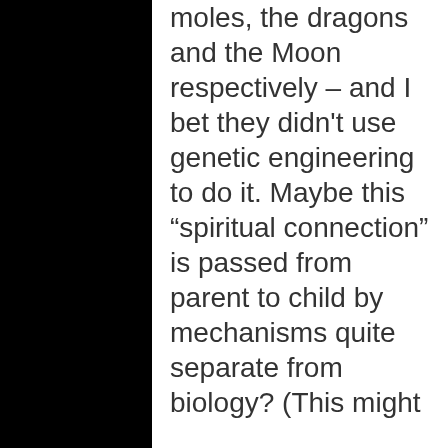moles, the dragons and the Moon respectively – and I bet they didn't use genetic engineering to do it. Maybe this “spiritual connection” is passed from parent to child by mechanisms quite separate from biology? (This might